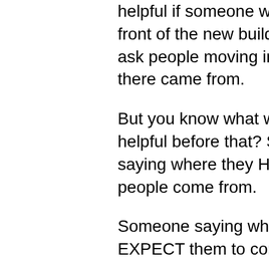helpful if someone would sit in front of the new buildings and ask people moving in where there came from.
But you know what would be helpful before that? Someone saying where they HOPE the people come from.
Someone saying where they EXPECT them to come from.
Is this impossible to do? I don't see why. Maybe residential is especially hard to predict. But we manage to do it for elk tourists. And gamblers. And people staying in hotels at the Inner Harbor.